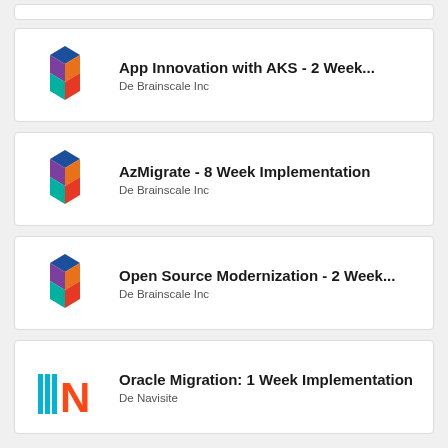[Figure (logo): Partial card stub at top]
App Innovation with AKS - 2 Week...
De Brainscale Inc
AzMigrate - 8 Week Implementation
De Brainscale Inc
Open Source Modernization - 2 Week...
De Brainscale Inc
Oracle Migration: 1 Week Implementation
De Navisite